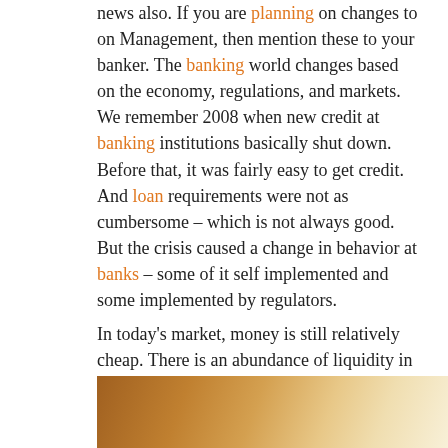news also. If you are planning on changes to on Management, then mention these to your banker. The banking world changes based on the economy, regulations, and markets. We remember 2008 when new credit at banking institutions basically shut down. Before that, it was fairly easy to get credit. And loan requirements were not as cumbersome – which is not always good. But the crisis caused a change in behavior at banks – some of it self implemented and some implemented by regulators. In today's market, money is still relatively cheap. There is an abundance of liquidity in the markets. So banks do want to loan money, but you must meet some basic guidelines.
[Figure (photo): Partial photo showing warm brown/orange tones, likely a document or financial paper, partially visible at bottom of page]